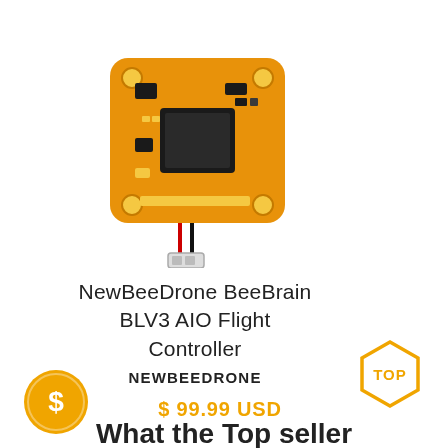[Figure (photo): Orange drone flight controller PCB board (NewBeeDrone BeeBrain BLV3 AIO) with wires and connector, viewed from top]
NewBeeDrone BeeBrain BLV3 AIO Flight Controller
NEWBEEDRONE
$ 99.99 USD
[Figure (logo): Orange circular coin badge with a shield/dollar symbol]
[Figure (logo): Orange hexagon badge with TOP text]
What the Top seller